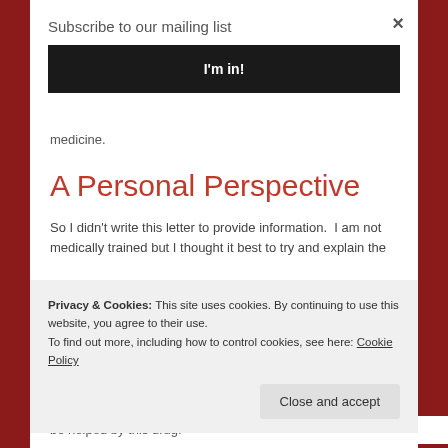[Figure (screenshot): Red rose background image behind the main content panel]
×
Subscribe to our mailing list
I'm in!
medicine.
A Personal Perspective
So I didn't write this letter to provide information.  I am not medically trained but I thought it best to try and explain the
Privacy & Cookies: This site uses cookies. By continuing to use this website, you agree to their use.
To find out more, including how to control cookies, see here: Cookie Policy
Close and accept
be helped by this drug.